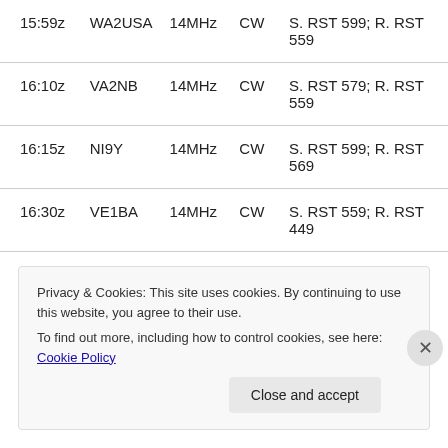| Time | Callsign | Freq | Mode | Report |
| --- | --- | --- | --- | --- |
| 15:59z | WA2USA | 14MHz | CW | S. RST 599; R. RST 559 |
| 16:10z | VA2NB | 14MHz | CW | S. RST 579; R. RST 559 |
| 16:15z | NI9Y | 14MHz | CW | S. RST 599; R. RST 569 |
| 16:30z | VE1BA | 14MHz | CW | S. RST 559; R. RST 449 |
Privacy & Cookies: This site uses cookies. By continuing to use this website, you agree to their use.
To find out more, including how to control cookies, see here: Cookie Policy